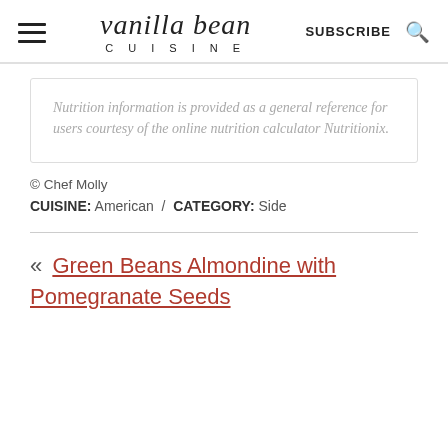vanilla bean CUISINE | SUBSCRIBE
Nutrition information is provided as a general reference for users courtesy of the online nutrition calculator Nutritionix.
© Chef Molly
CUISINE: American / CATEGORY: Side
« Green Beans Almondine with Pomegranate Seeds